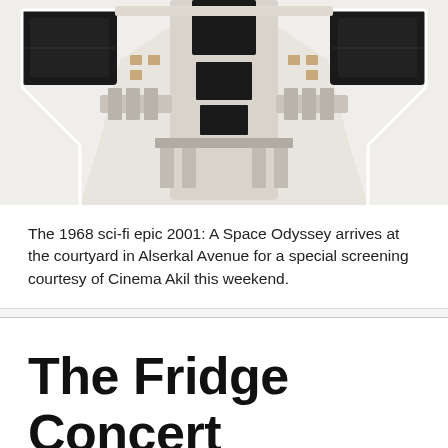[Figure (photo): Overhead/top-down view of a sci-fi spaceship interior or model, symmetrical design with black panels and white structural elements, from the 1968 film 2001: A Space Odyssey]
The 1968 sci-fi epic 2001: A Space Odyssey arrives at the courtyard in Alserkal Avenue for a special screening courtesy of Cinema Akil this weekend.
The Fridge Concert